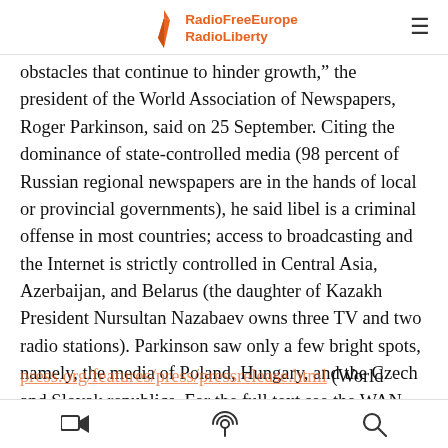RadioFreeEurope RadioLiberty
obstacles that continue to hinder growth,” the president of the World Association of Newspapers, Roger Parkinson, said on 25 September. Citing the dominance of state-controlled media (98 percent of Russian regional newspapers are in the hands of local or provincial governments), he said libel is a criminal offense in most countries; access to broadcasting and the Internet is strictly controlled in Central Asia, Azerbaijan, and Belarus (the daughter of Kazakh President Nursultan Nazabaev owns three TV and two radio stations). Parkinson saw only a few bright spots, namely, the media of Poland, Hungary, and the Czech and Slovak republics. For the full text see the WAN website at www.wan-
video | podcast | search